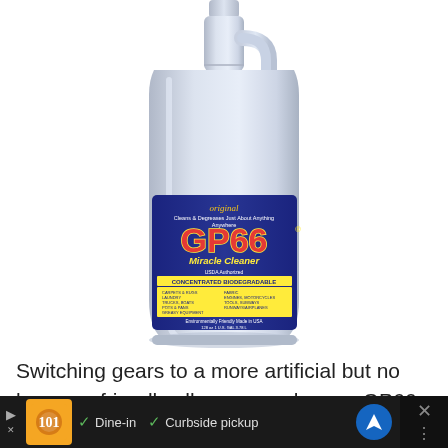[Figure (photo): A white gallon jug of GP66 Miracle Cleaner with a blue label. The label reads 'original', 'Cleans & Degreases Just About Anything Anywhere', 'GP66 Miracle Cleaner', 'USDA Authorized', 'CONCENTRATED BIODEGRADABLE', lists many uses including carpets, rugs, laundry, trucks, boats, pots & pans, greasy equipment, fabric, engines, motorcycles, tools, subways, runways/airplanes. Also states 'Environmentally Friendly Made in USA', '128 oz 1 U.S. GAL 3.78 L'.]
Switching gears to a more artificial but no less eco-friendly all-purpose cleaner, GP66 (Green Power invented in 1966) meets OSHA, EPA,
[Figure (screenshot): Advertisement bar at bottom showing a restaurant/food icon, checkmarks for Dine-in and Curbside pickup, a blue navigation arrow icon, and an X close button on dark background.]